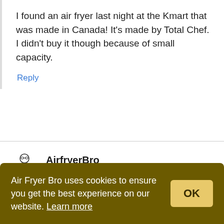I found an air fryer last night at the Kmart that was made in Canada! It's made by Total Chef. I didn't buy it though because of small capacity.
Reply
AirfryerBro
April 7, 2021 at 11:24 am
Air Fryer Bro uses cookies to ensure you get the best experience on our website. Learn more
OK